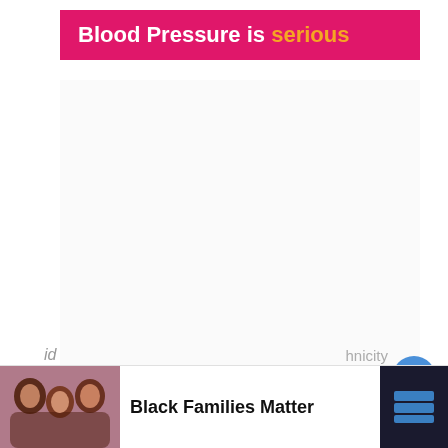Blood Pressure is serious
[Figure (photo): Large advertisement/infographic image area below the Blood Pressure banner (mostly white/empty space on this page crop)]
Besides, he is American by nationality and
[Figure (photo): Advertisement banner at bottom: photo of smiling Black family (mother and two children), bold text 'Black Families Matter', close button X, and a dark logo on the right side]
id (partially visible) hnicity